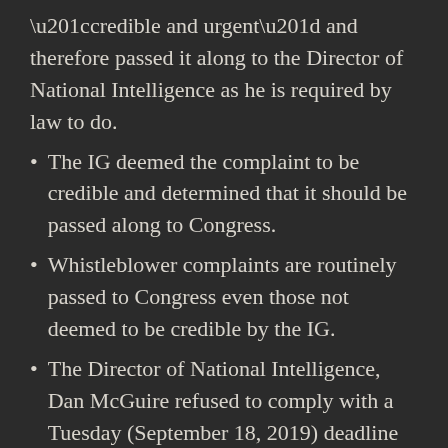“credible and urgent” and therefore passed it along to the Director of National Intelligence as he is required by law to do.
The IG deemed the complaint to be credible and determined that it should be passed along to Congress.
Whistleblower complaints are routinely passed to Congress even those not deemed to be credible by the IG.
The Director of National Intelligence, Dan McGuire refused to comply with a Tuesday (September 18, 2019) deadline